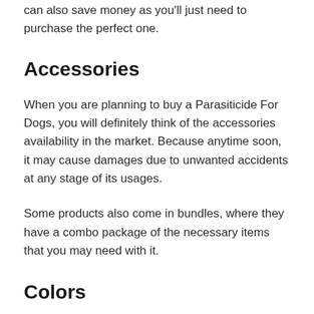can also save money as you'll just need to purchase the perfect one.
Accessories
When you are planning to buy a Parasiticide For Dogs, you will definitely think of the accessories availability in the market. Because anytime soon, it may cause damages due to unwanted accidents at any stage of its usages.
Some products also come in bundles, where they have a combo package of the necessary items that you may need with it.
Colors